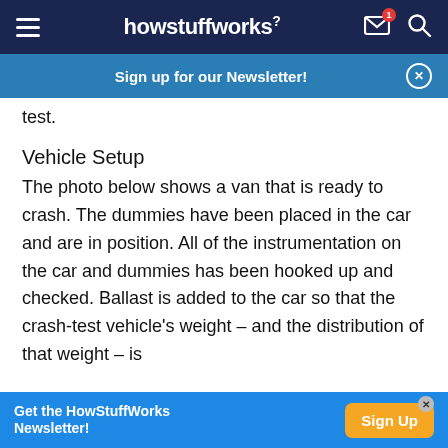howstuffworks
Sign up for our Newsletter!
test.
Vehicle Setup
The photo below shows a van that is ready to crash. The dummies have been placed in the car and are in position. All of the instrumentation on the car and dummies has been hooked up and checked. Ballast is added to the car so that the crash-test vehicle's weight -- and the distribution of that weight -- is equal to that of a fully loaded vehicle. A speed
Get the HowStuffWorks Newsletter! Sign Up